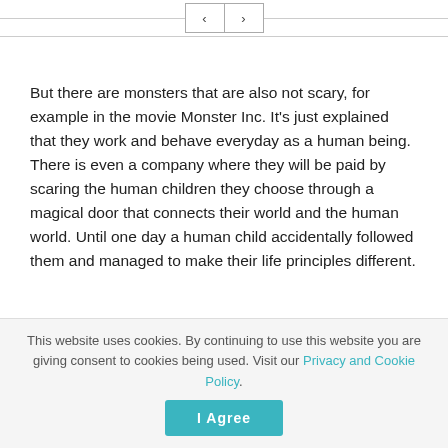< >
But there are monsters that are also not scary, for example in the movie Monster Inc. It's just explained that they work and behave everyday as a human being. There is even a company where they will be paid by scaring the human children they choose through a magical door that connects their world and the human world. Until one day a human child accidentally followed them and managed to make their life principles different.
This website uses cookies. By continuing to use this website you are giving consent to cookies being used. Visit our Privacy and Cookie Policy.